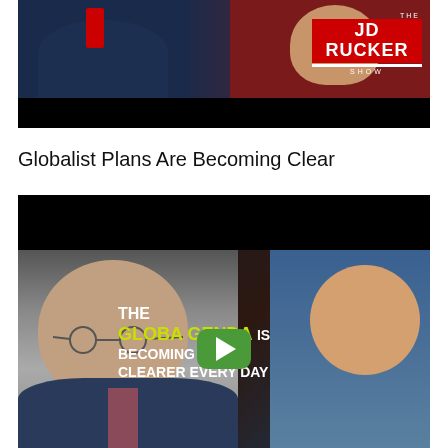[Figure (screenshot): Video thumbnail for The JD Rucker Show featuring two people and the show logo on a red background]
Globalist Plans Are Becoming Clear
[Figure (screenshot): Video thumbnail showing an elderly man and a younger Asian man with overlaid text 'THE GLOBAL AGENDA IS BECOMING CLEARER EVERY DAY' in yellow and white, with a green play button in the center]